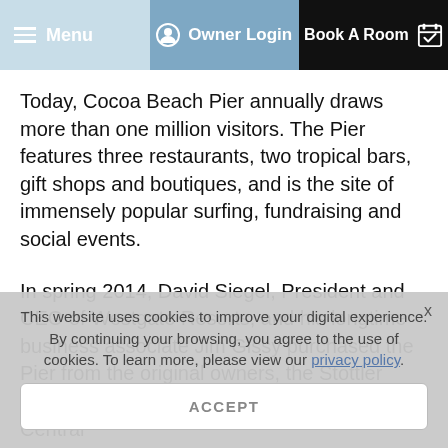Menu | Owner Login | Book A Room
Today, Cocoa Beach Pier annually draws more than one million visitors. The Pier features three restaurants, two tropical bars, gift shops and boutiques, and is the site of immensely popular surfing, fundraising and social events.
In spring 2014, David Siegel, President and CEO of Westgate Resorts, and his longtime business associate Jim Gissy purchased the Pier from the original owners, the Stottler family. Both men have strong ties to the Central
This website uses cookies to improve your digital experience. By continuing your browsing, you agree to the use of cookies. To learn more, please view our privacy policy.
ACCEPT